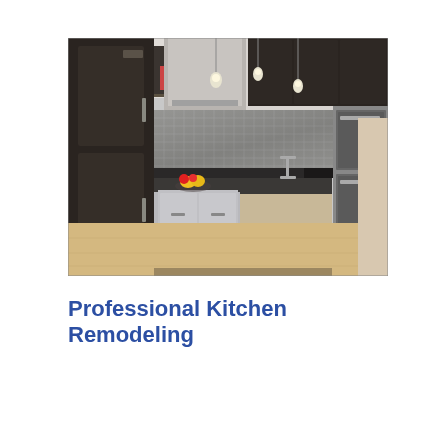[Figure (photo): A modern kitchen with dark upper cabinets, white/gray island with dark countertop, red bar stools, mosaic tile backsplash, pendant lights, stainless steel appliances, and a fruit bowl on the island.]
Professional Kitchen Remodeling